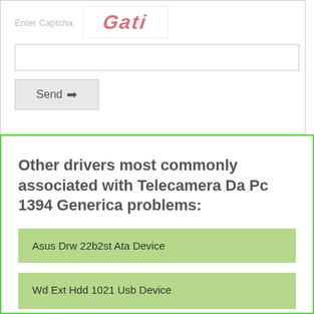Enter Captcha:
[Figure (other): CAPTCHA image with distorted red text 'Gati']
Send →
Other drivers most commonly associated with Telecamera Da Pc 1394 Generica problems:
Asus Drw 22b2st Ata Device
Wd Ext Hdd 1021 Usb Device